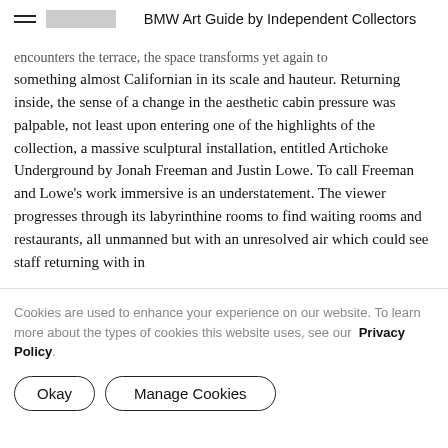BMW Art Guide by Independent Collectors
encounters the terrace, the space transforms yet again to something almost Californian in its scale and hauteur. Returning inside, the sense of a change in the aesthetic cabin pressure was palpable, not least upon entering one of the highlights of the collection, a massive sculptural installation, entitled Artichoke Underground by Jonah Freeman and Justin Lowe. To call Freeman and Lowe’s work immersive is an understatement. The viewer progresses through its labyrinthine rooms to find waiting rooms and restaurants, all unmanned but with an unresolved air which could see staff returning with in
Cookies are used to enhance your experience on our website. To learn more about the types of cookies this website uses, see our Privacy Policy.
Okay
Manage Cookies